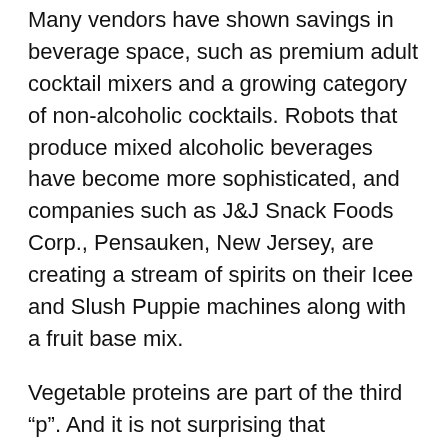Many vendors have shown savings in beverage space, such as premium adult cocktail mixers and a growing category of non-alcoholic cocktails. Robots that produce mixed alcoholic beverages have become more sophisticated, and companies such as J&J Snack Foods Corp., Pensauken, New Jersey, are creating a stream of spirits on their Icee and Slush Puppie machines along with a fruit base mix.
Vegetable proteins are part of the third “p”. And it is not surprising that producers of meat of vegetable origin came out in full at the exhibition. Three participants of the exhibition came from abroad for the first time.
Yo! it is the concept of the vegetable egg. The Israeli company Yo Foods Ltd. demonstrated Yo !, a concept of plant-based eggs for operators consisting of two parts – protein and yolk – that allows you to cook the concepts of the sunny side up and poaching. White is